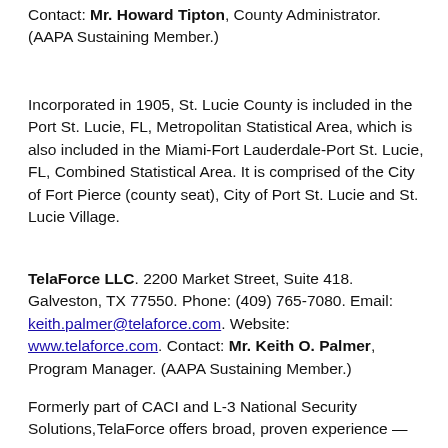Contact: Mr. Howard Tipton, County Administrator. (AAPA Sustaining Member.)
Incorporated in 1905, St. Lucie County is included in the Port St. Lucie, FL, Metropolitan Statistical Area, which is also included in the Miami-Fort Lauderdale-Port St. Lucie, FL, Combined Statistical Area. It is comprised of the City of Fort Pierce (county seat), City of Port St. Lucie and St. Lucie Village.
TelaForce LLC. 2200 Market Street, Suite 418. Galveston, TX 77550. Phone: (409) 765-7080. Email: keith.palmer@telaforce.com. Website: www.telaforce.com. Contact: Mr. Keith O. Palmer, Program Manager. (AAPA Sustaining Member.)
Formerly part of CACI and L-3 National Security Solutions, TelaForce offers broad, proven experience — now in an organization 100% focused on enterprise